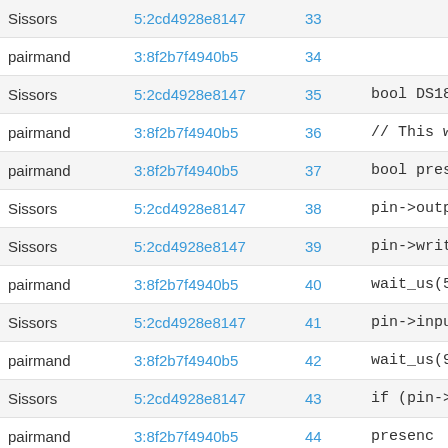| Author | Commit | Line | Code |
| --- | --- | --- | --- |
| Sissors | 5:2cd4928e8147 | 33 |  |
| pairmand | 3:8f2b7f4940b5 | 34 |  |
| Sissors | 5:2cd4928e8147 | 35 | bool DS1820::on |
| pairmand | 3:8f2b7f4940b5 | 36 | // This will re |
| pairmand | 3:8f2b7f4940b5 | 37 | bool presen |
| Sissors | 5:2cd4928e8147 | 38 | pin->output |
| Sissors | 5:2cd4928e8147 | 39 | pin->write( |
| pairmand | 3:8f2b7f4940b5 | 40 | wait_us(500 |
| Sissors | 5:2cd4928e8147 | 41 | pin->input( |
| pairmand | 3:8f2b7f4940b5 | 42 | wait_us(90) |
| Sissors | 5:2cd4928e8147 | 43 | if (pin->re |
| pairmand | 3:8f2b7f4940b5 | 44 | presenc |
Important Information for this Arm website

This site uses cookies to store information on your computer. By continuing to use our site, you consent to our cookies. If you are not happy with the use of these cookies, please review our Cookie Policy to learn how they can be disabled. By disabling cookies, some features of the site will not work.

Accept and hide this message